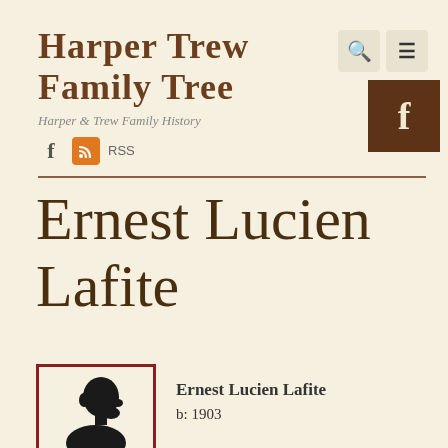Harper Trew Family Tree
Harper & Trew Family History
f  RSS
Ernest Lucien Lafite
[Figure (illustration): Silhouette portrait of a child/person in profile, black on cream background, inside a dark red border frame]
Ernest Lucien Lafite
b: 1903